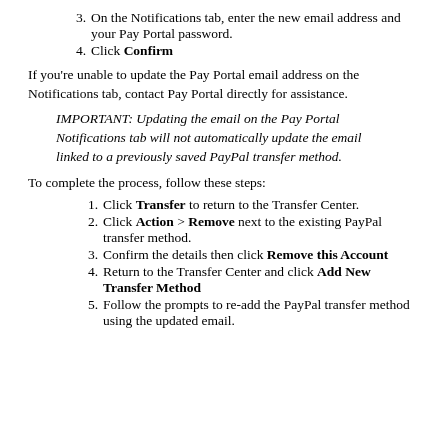3. On the Notifications tab, enter the new email address and your Pay Portal password.
4. Click Confirm
If you’re unable to update the Pay Portal email address on the Notifications tab, contact Pay Portal directly for assistance.
IMPORTANT: Updating the email on the Pay Portal Notifications tab will not automatically update the email linked to a previously saved PayPal transfer method.
To complete the process, follow these steps:
1. Click Transfer to return to the Transfer Center.
2. Click Action > Remove next to the existing PayPal transfer method.
3. Confirm the details then click Remove this Account
4. Return to the Transfer Center and click Add New Transfer Method
5. Follow the prompts to re-add the PayPal transfer method using the updated email.